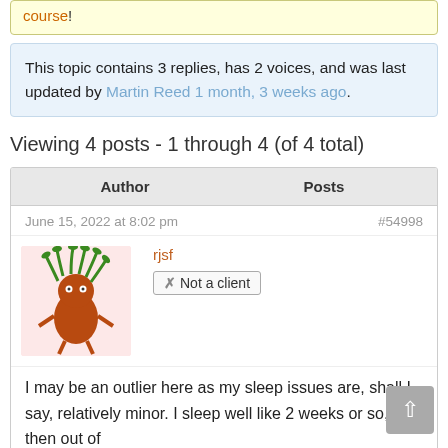course!
This topic contains 3 replies, has 2 voices, and was last updated by Martin Reed 1 month, 3 weeks ago.
Viewing 4 posts - 1 through 4 (of 4 total)
| Author | Posts |
| --- | --- |
| June 15, 2022 at 8:02 pm | #54998 |
| rjsf / Not a client | I may be an outlier here as my sleep issues are, shall I say, relatively minor. I sleep well like 2 weeks or so, then out of |
I may be an outlier here as my sleep issues are, shall I say, relatively minor. I sleep well like 2 weeks or so, then out of